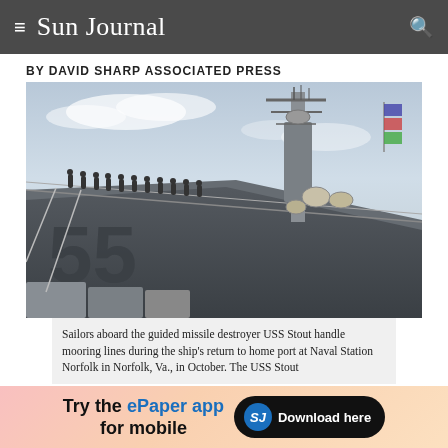Sun Journal
BY DAVID SHARP ASSOCIATED PRESS
[Figure (photo): Sailors aboard a guided-missile destroyer USS Stout (numbered 55 on hull) handling mooring lines on the deck, with radar mast and military equipment visible against a hazy sky. Naval personnel line the top rail of the ship.]
Sailors aboard the guided missile destroyer USS Stout handle mooring lines during the ship's return to home port at Naval Station Norfolk in Norfolk, Va., in October. The USS Stout
[Figure (infographic): Advertisement banner: 'Try the ePaper app for mobile' with SJ logo badge and 'Download here' button on dark pill.]